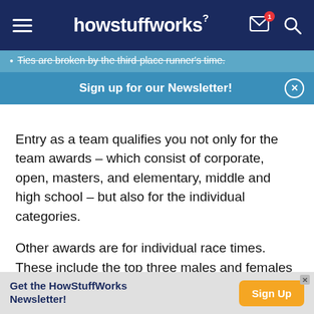howstuffworks
Ties are broken by the third-place runner's time.
Sign up for our Newsletter!
Entry as a team qualifies you not only for the team awards – which consist of corporate, open, masters, and elementary, middle and high school – but also for the individual categories.
Other awards are for individual race times. These include the top three males and females overall, male and female masters (ages 40 and up), grandmasters (ages 50 and up) and senior
Get the HowStuffWorks Newsletter! Sign Up